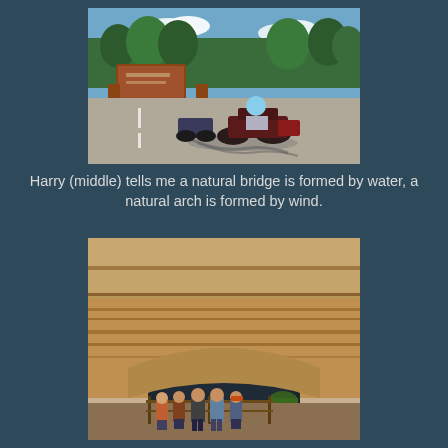[Figure (photo): Motorcycles lined up in a parking lot near a national park entrance sign with trees in the background. A rider on a large touring motorcycle is in the foreground, casting shadow on the pavement.]
Harry (middle) tells me a natural bridge is formed by water, a natural arch is formed by wind.
[Figure (photo): Group of five people standing in front of a large natural rock arch or bridge formation made of layered sandstone, with desert landscape visible.]